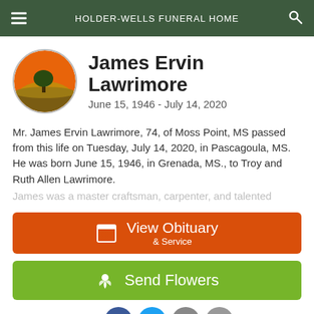HOLDER-WELLS FUNERAL HOME
James Ervin Lawrimore
June 15, 1946 - July 14, 2020
Mr. James Ervin Lawrimore, 74, of Moss Point, MS passed from this life on Tuesday, July 14, 2020, in Pascagoula, MS. He was born June 15, 1946, in Grenada, MS., to Troy and Ruth Allen Lawrimore.
James was a master craftsman, carpenter, and talented
View Obituary & Service
Send Flowers